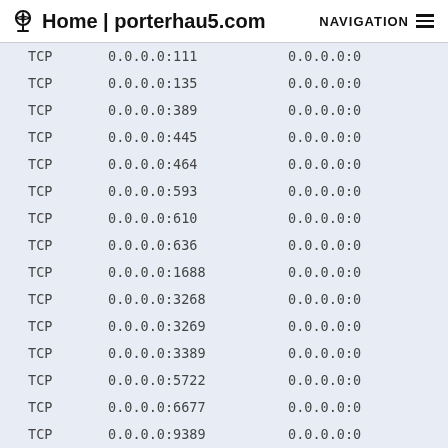Home | porterhau5.com   NAVIGATION
| TCP | 0.0.0.0:111 | 0.0.0.0:0 |
| TCP | 0.0.0.0:135 | 0.0.0.0:0 |
| TCP | 0.0.0.0:389 | 0.0.0.0:0 |
| TCP | 0.0.0.0:445 | 0.0.0.0:0 |
| TCP | 0.0.0.0:464 | 0.0.0.0:0 |
| TCP | 0.0.0.0:593 | 0.0.0.0:0 |
| TCP | 0.0.0.0:610 | 0.0.0.0:0 |
| TCP | 0.0.0.0:636 | 0.0.0.0:0 |
| TCP | 0.0.0.0:1688 | 0.0.0.0:0 |
| TCP | 0.0.0.0:3268 | 0.0.0.0:0 |
| TCP | 0.0.0.0:3269 | 0.0.0.0:0 |
| TCP | 0.0.0.0:3389 | 0.0.0.0:0 |
| TCP | 0.0.0.0:5722 | 0.0.0.0:0 |
| TCP | 0.0.0.0:6677 | 0.0.0.0:0 |
| TCP | 0.0.0.0:9389 | 0.0.0.0:0 |
| TCP | 0.0.0.0:9898 | 0.0.0.0:0 |
| TCP | 0.0.0.0:47001 | 0.0.0.0:0 |